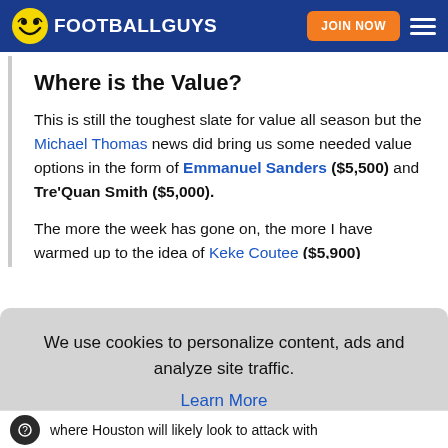FOOTBALLGUYS | JOIN NOW
Where is the Value?
This is still the toughest slate for value all season but the Michael Thomas news did bring us some needed value options in the form of Emmanuel Sanders ($5,500) and Tre'Quan Smith ($5,000).
The more the week has gone on, the more I have warmed up to the idea of Keke Coutee ($5,900)
We use cookies to personalize content, ads and analyze site traffic. Learn More OKAY
where Houston will likely look to attack with